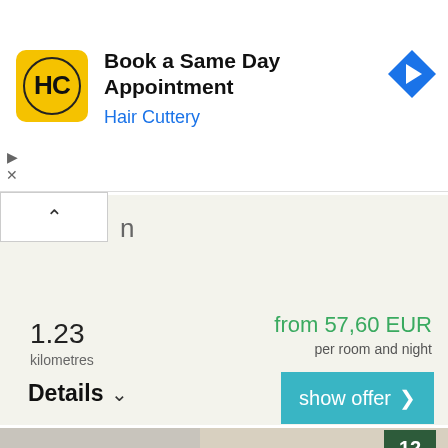[Figure (screenshot): Ad banner for Hair Cuttery with logo, text 'Book a Same Day Appointment', blue subtitle 'Hair Cuttery', blue diamond navigation arrow icon, and ad controls (play and close).]
1.23
kilometres
from 57,60 EUR
per room and night
Details
show offer >
[Figure (photo): Hotel room photo showing a bathroom with a decorative mirror, shower curtain, decorative bird silhouettes on the wall, and tiled surfaces. A number badge '12' appears in the top right corner.]